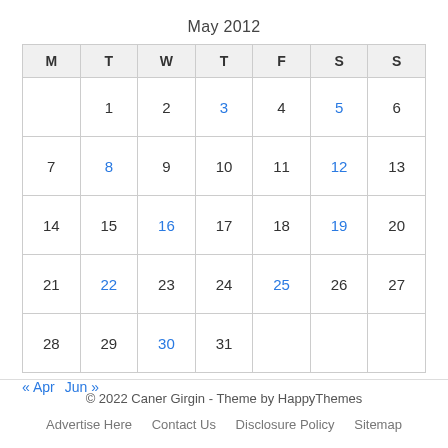May 2012
| M | T | W | T | F | S | S |
| --- | --- | --- | --- | --- | --- | --- |
|  | 1 | 2 | 3 | 4 | 5 | 6 |
| 7 | 8 | 9 | 10 | 11 | 12 | 13 |
| 14 | 15 | 16 | 17 | 18 | 19 | 20 |
| 21 | 22 | 23 | 24 | 25 | 26 | 27 |
| 28 | 29 | 30 | 31 |  |  |  |
« Apr   Jun »
© 2022 Caner Girgin - Theme by HappyThemes
Advertise Here   Contact Us   Disclosure Policy   Sitemap